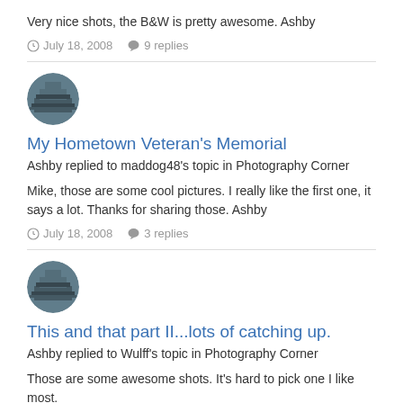Very nice shots, the B&W is pretty awesome. Ashby
July 18, 2008  9 replies
[Figure (photo): Circular avatar photo of a building/structure]
My Hometown Veteran's Memorial
Ashby replied to maddog48's topic in Photography Corner
Mike, those are some cool pictures. I really like the first one, it says a lot. Thanks for sharing those. Ashby
July 18, 2008  3 replies
[Figure (photo): Circular avatar photo of a building/structure]
This and that part II...lots of catching up.
Ashby replied to Wulff's topic in Photography Corner
Those are some awesome shots. It's hard to pick one I like most. Very nice shooting. Ashby